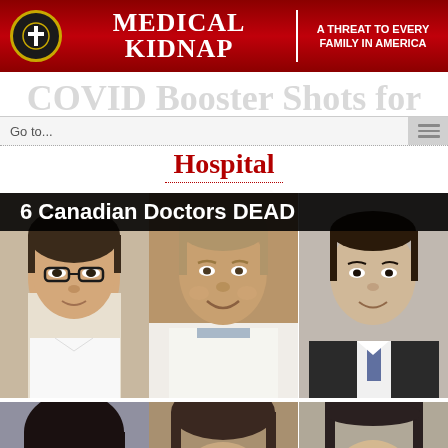[Figure (logo): Medical Kidnap website header banner with logo (cross in circle), title 'Medical Kidnap', and tagline 'A Threat to Every Family in America' on a dark red background]
COVID Booster Shots for Hospital
[Figure (photo): Photo collage of 6 Canadian doctors with overlay text '6 Canadian Doctors DEAD' — three doctors in top row (young man with glasses, older man in white coat, man in dark suit) and three partially visible in bottom row]